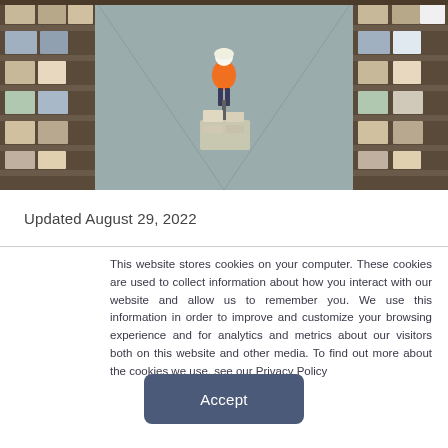[Figure (photo): Aerial view of a warehouse aisle with a worker in an orange safety vest pushing a pallet jack loaded with boxes, surrounded by tall shelving units filled with boxes and pallets on both sides.]
Updated August 29, 2022
This website stores cookies on your computer. These cookies are used to collect information about how you interact with our website and allow us to remember you. We use this information in order to improve and customize your browsing experience and for analytics and metrics about our visitors both on this website and other media. To find out more about the cookies we use, see our Privacy Policy
Accept